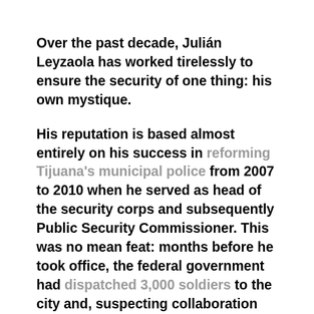Over the past decade, Julián Leyzaola has worked tirelessly to ensure the security of one thing: his own mystique.
His reputation is based almost entirely on his success in reforming Tijuana's municipal police from 2007 to 2010 when he served as head of the security corps and subsequently Public Security Commissioner. This was no mean feat: months before he took office, the federal government had dispatched 3,000 soldiers to the city and, suspecting collaboration with the Arellano